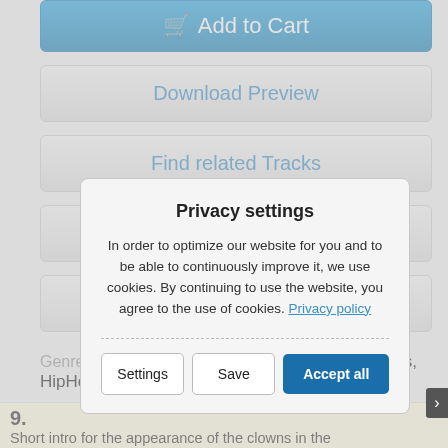[Figure (screenshot): E-commerce music track page with Add to Cart button, Download Preview, Find related Tracks, star/favorite button, Login to Create a Playlist buttons, Genre listing, and a cookie Privacy settings modal overlay with Settings, Save, and Accept all buttons.]
Add to Cart
Download Preview
Find related Tracks
☆
Login to Create a Playlist
Genre: Easy Listening, Background Music, Beats, HipHop/Rap,
Privacy settings
In order to optimize our website for you and to be able to continuously improve it, we use cookies. By continuing to use the website, you agree to the use of cookies. Privacy policy
Settings
Save
Accept all
9.
Short intro for the appearance of the clowns in the